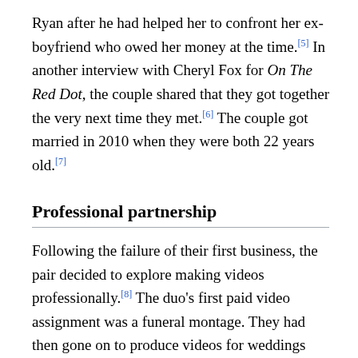Ryan after he had helped her to confront her ex-boyfriend who owed her money at the time.[5] In another interview with Cheryl Fox for On The Red Dot, the couple shared that they got together the very next time they met.[6] The couple got married in 2010 when they were both 22 years old.[7]
Professional partnership
Following the failure of their first business, the pair decided to explore making videos professionally.[8] The duo's first paid video assignment was a funeral montage. They had then gone on to produce videos for weddings and corporate events. During this time, Malaysian YouTuber Dan Khoo was their main supporter as he had taught them the ropes of the YouTube industry.[9] Although Ryan and Sylvia are divorced, they remain as business